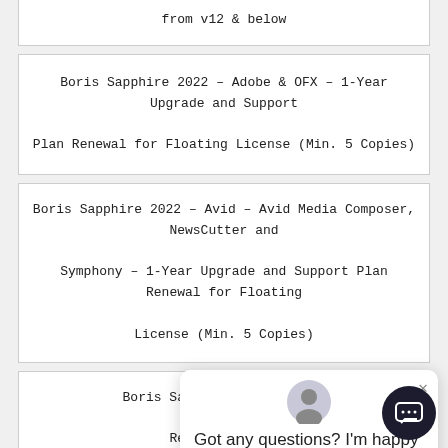from v12 & below
Boris Sapphire 2022 – Adobe & OFX – 1-Year Upgrade and Support Plan Renewal for Floating License (Min. 5 Copies)
Boris Sapphire 2022 – Avid – Avid Media Composer, NewsCutter and Symphony – 1-Year Upgrade and Support Plan Renewal for Floating License (Min. 5 Copies)
Boris Sapphire 2022 – Aut... Renewal for F...
Boris Sapphire 2022 – All Hosts: Adobe, OFX, Avid, and Autodesk – 1-Year Upgrade and Support Plan Renewal for Floating Li...